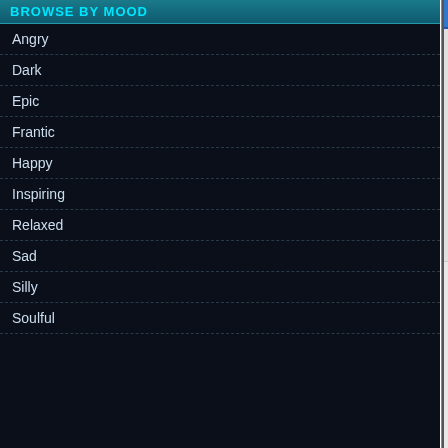BROWSE BY MOOD
Angry
Dark
Epic
Frantic
Happy
Inspiring
Relaxed
Sad
Silly
Soulful
| User |  |
| --- | --- |
| 12:14 am
November 10, 2021 | [icon] |
| shootup
Veteran
[avatar]
Posts: 351 | The use of mobile he... Chennai will become... in risk-sharing agreem... providers are incente... team. The outcomes... reducing hospital len... |
ad